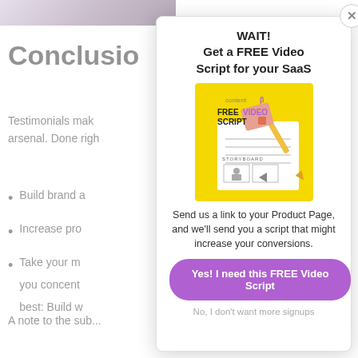[Figure (photo): Cropped photo of a person or scene with purple/muted tones, partially visible at top left]
Conclusio
Testimonials mak arsenal. Done righ
Build brand a
Increase pro
Take your m you concent best: Build w
A note to the sub...
WAIT!
Get a FREE Video Script for your SaaS
[Figure (illustration): Yellow card image showing 'content beta FREE VIDEO SCRIPT' with a storyboard notebook, pencil, and paper illustration]
Send us a link to your Product Page, and we'll send you a script that might increase your conversions.
Yes! I need this FREE Video Script
No, I don't want more signups